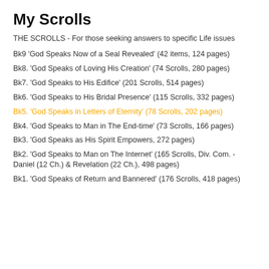My Scrolls
THE SCROLLS - For those seeking answers to specific Life issues
Bk9 'God Speaks Now of a Seal Revealed' (42 items, 124 pages)
Bk8. 'God Speaks of Loving His Creation' (74 Scrolls, 280 pages)
Bk7. 'God Speaks to His Edifice' (201 Scrolls, 514 pages)
Bk6. 'God Speaks to His Bridal Presence' (115 Scrolls, 332 pages)
Bk5. 'God Speaks in Letters of Eternity' (78 Scrolls, 202 pages)
Bk4. 'God Speaks to Man in The End-time' (73 Scrolls, 166 pages)
Bk3. 'God Speaks as His Spirit Empowers, 272 pages)
Bk2. 'God Speaks to Man on The Internet' (165 Scrolls, Div. Com. - Daniel (12 Ch.) & Revelation (22 Ch.), 498 pages)
Bk1. 'God Speaks of Return and Bannered' (176 Scrolls, 418 pages)